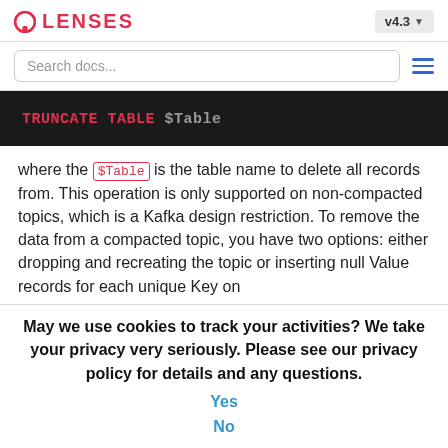LENSES  v4.3
Search docs...
[Figure (screenshot): Dark code block showing SQL syntax: TRUNCATE TABLE $Table]
where the $Table is the table name to delete all records from. This operation is only supported on non-compacted topics, which is a Kafka design restriction. To remove the data from a compacted topic, you have two options: either dropping and recreating the topic or inserting null Value records for each unique Key on
May we use cookies to track your activities? We take your privacy very seriously. Please see our privacy policy for details and any questions.
Yes
No